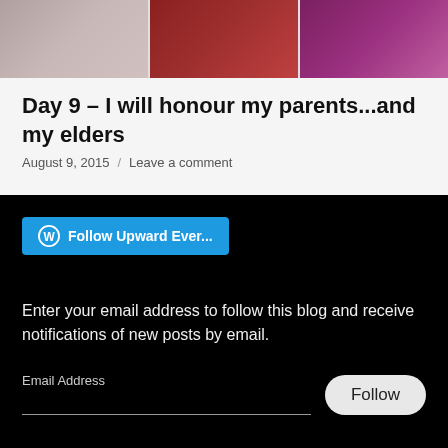[Figure (photo): Three photos of people/couples displayed in a horizontal strip at the top of the page]
Day 9 – I will honour my parents...and my elders
August 9, 2015 / Leave a comment
[Figure (other): WordPress Follow button labeled 'Follow Upward Ever...' in blue]
Enter your email address to follow this blog and receive notifications of new posts by email.
Email Address  Follow